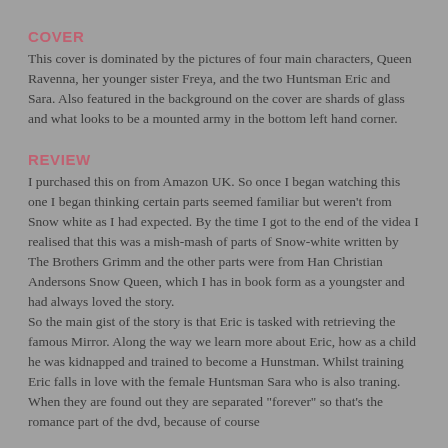COVER
This cover is dominated by the pictures of four main characters, Queen Ravenna, her younger sister Freya, and the two Huntsman Eric and Sara. Also featured in the background on the cover are shards of glass and what looks to be a mounted army in the bottom left hand corner.
REVIEW
I purchased this on from Amazon UK. So once I began watching this one I began thinking certain parts seemed familiar but weren't from Snow white as I had expected. By the time I got to the end of the videa I realised that this was a mish-mash of parts of Snow-white written by The Brothers Grimm and the other parts were from Han Christian Andersons Snow Queen, which I has in book form as a youngster and had always loved the story.
So the main gist of the story is that Eric is tasked with retrieving the famous Mirror. Along the way we learn more about Eric, how as a child he was kidnapped and trained to become a Hunstman. Whilst training Eric falls in love with the female Huntsman Sara who is also traning. When they are found out they are separated "forever" so that's the romance part of the dvd, because of course